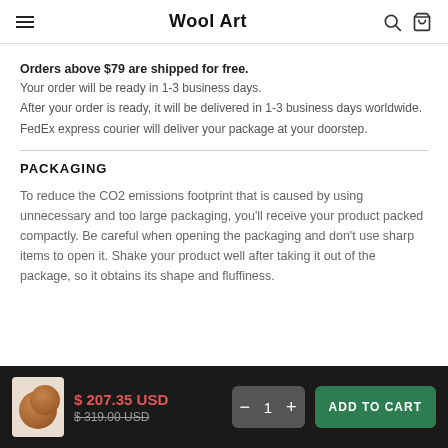Wool Art
Orders above $79 are shipped for free.
Your order will be ready in 1-3 business days.
After your order is ready, it will be delivered in 1-3 business days worldwide.
FedEx express courier will deliver your package at your doorstep.
PACKAGING
To reduce the CO2 emissions footprint that is caused by using unnecessary and too large packaging, you'll receive your product packed compactly. Be careful when opening the packaging and don't use sharp items to open it. Shake your product well after taking it out of the package, so it obtains its shape and fluffiness.